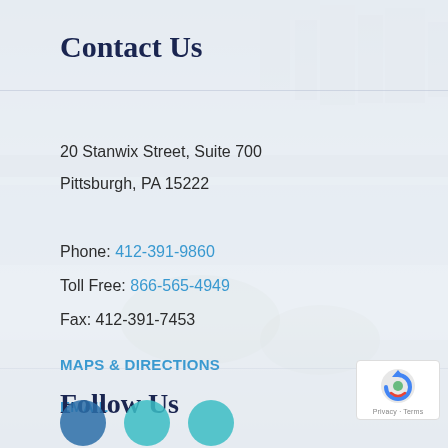Contact Us
20 Stanwix Street, Suite 700
Pittsburgh, PA 15222
Phone: 412-391-9860
Toll Free: 866-565-4949
Fax: 412-391-7453
MAPS & DIRECTIONS
EMAIL
Follow Us
[Figure (other): reCAPTCHA badge with Privacy and Terms links]
[Figure (other): Social media icon circles at bottom of page]